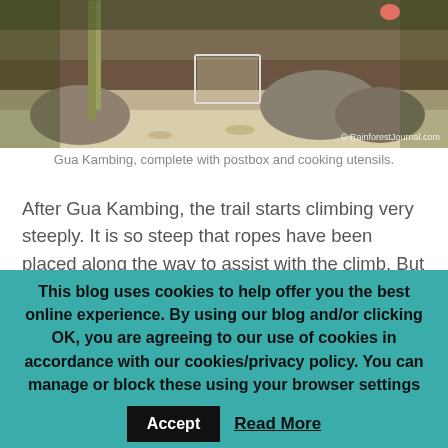[Figure (photo): Photograph of Gua Kambing cave area showing forest floor, rocks, bamboo poles, and a metal box, with a watermark reading © RainforestJournal.com]
Gua Kambing, complete with postbox and cooking utensils.
After Gua Kambing, the trail starts climbing very steeply. It is so steep that ropes have been placed along the way to assist with the climb. But cross this steep section, and you will soon arrive at the peak of Gunung Berembun at 1014m ASL. Along the way, you can almost certainly discern the drop in temperature, and notice the forest changing in a subtle way. The trees start looking a little different, and the
This blog uses cookies to help offer you the best online experience. By using our blog and/or clicking OK, you are agreeing to our use of cookies in accordance with our cookies/privacy policy. You can manage or block these using your browser settings Accept Read More